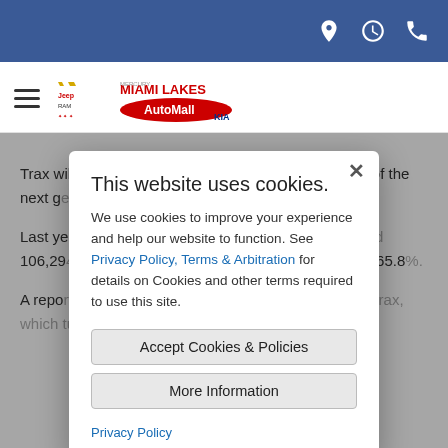Navigation bar with location, hours, and phone icons
[Figure (logo): Miami Lakes AutoMall logo with Chevy, Jeep, RAM, Mitsubishi, Kia brand icons]
Trax will end production late this year. The assembly of the next g[...] of 2023.
Last ye[...] the Trax. T[...] 106,29[...] 2022, the su[...] drop of 65.8[...]
A repo[...] t to disco[...] ned out to[...]
This website uses cookies.
We use cookies to improve your experience and help our website to function. See Privacy Policy, Terms & Arbitration for details on Cookies and other terms required to use this site.
Accept Cookies & Policies
More Information
Privacy Policy